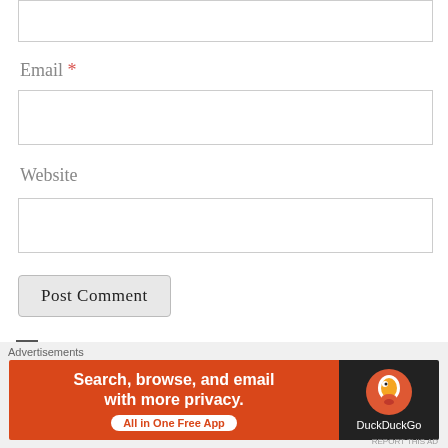Email *
Website
Post Comment
Notify me of new comments via email.
Advertisements
[Figure (infographic): DuckDuckGo advertisement banner: orange left panel with text 'Search, browse, and email with more privacy. All in One Free App' and dark right panel with DuckDuckGo duck logo and 'DuckDuckGo' text]